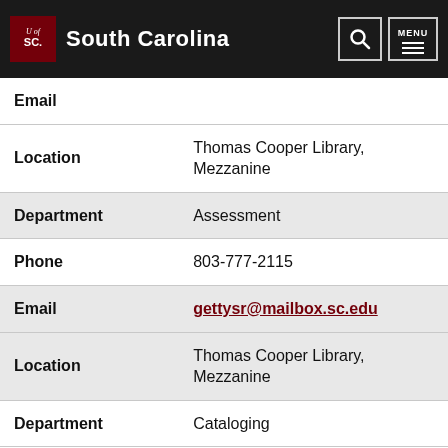University of South Carolina
| Field | Value |
| --- | --- |
| Email |  |
| Location | Thomas Cooper Library, Mezzanine |
| Department | Assessment |
| Phone | 803-777-2115 |
| Email | gettysr@mailbox.sc.edu |
| Location | Thomas Cooper Library, Mezzanine |
| Department | Cataloging |
| Phone | 803-777-2948 |
| Email | tclcat@mailbox.sc.edu |